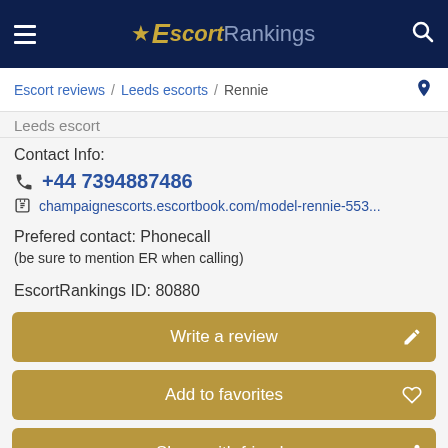Escort Rankings
Escort reviews / Leeds escorts / Rennie
Leeds escort
Contact Info:
+44 7394887486
champaignescorts.escortbook.com/model-rennie-553...
Prefered contact: Phonecall
(be sure to mention ER when calling)
EscortRankings ID: 80880
Write a review
Add to favorites
Share with friends